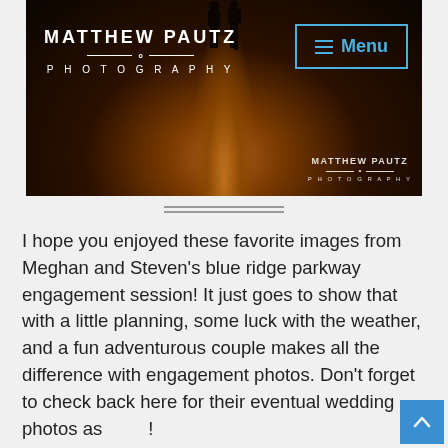[Figure (photo): Dark atmospheric wedding/engagement photography banner showing silhouettes of a couple on a road at night with warm light on the road. Matthew Pautz Photography logo top-left, Menu button top-right, watermark bottom-right.]
I hope you enjoyed these favorite images from Meghan and Steven's blue ridge parkway engagement session! It just goes to show that with a little planning, some luck with the weather, and a fun adventurous couple makes all the difference with engagement photos. Don't forget to check back here for their eventual wedding photos as well!